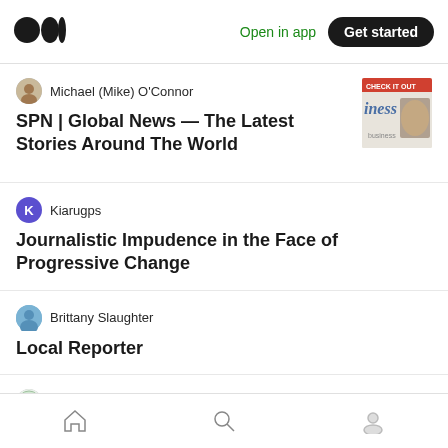Medium app header with logo, Open in app, Get started
Michael (Mike) O'Connor
SPN | Global News — The Latest Stories Around The World
Kiarugps
Journalistic Impudence in the Face of Progressive Change
Brittany Slaughter
Local Reporter
Digital Innovators' Summit
SeeBoundless' Steve Johnson on exploring
Bottom navigation: Home, Search, Profile